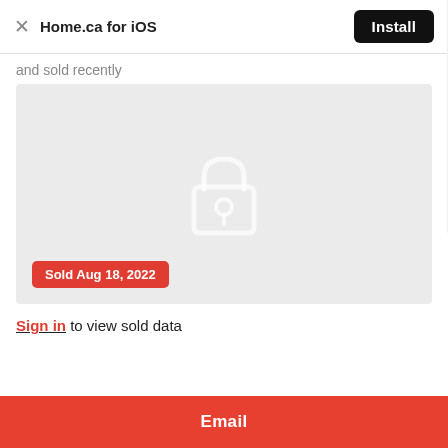Home.ca for iOS — Install
and sold recently
[Figure (screenshot): Gray placeholder image area with a white padlock icon in the center, indicating locked/private content. A red badge at the bottom left reads 'Sold Aug 18, 2022'.]
Sign in to view sold data
Email